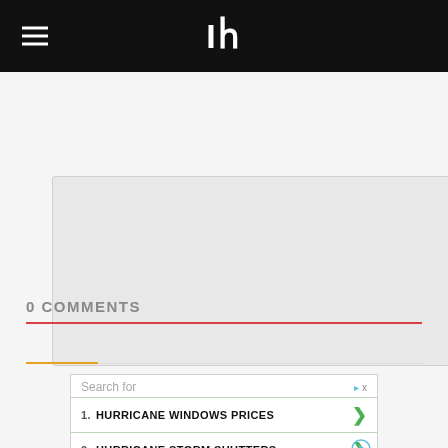IF (logo navigation bar)
[Figure (other): Gray placeholder content box]
0 COMMENTS
[Figure (infographic): Comment sort icons: lightning bolt (orange) and flame (red/orange), with orange underline tab indicator]
[Figure (infographic): Search widget with header 'Search for', two list items: 1. HURRICANE WINDOWS PRICES, 2. HURRICANE STORM SHUTTERS, each with green chevron arrows, and a play icon at bottom right]